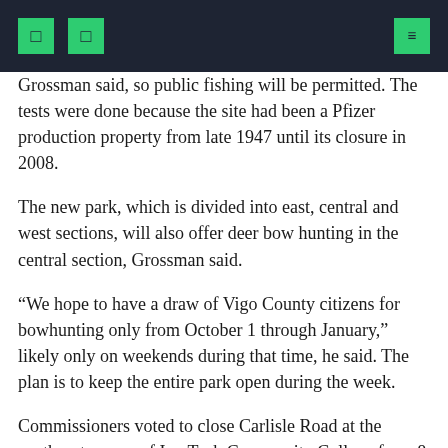Grossman said, so public fishing will be permitted. The tests were done because the site had been a Pfizer production property from late 1947 until its closure in 2008.
The new park, which is divided into east, central and west sections, will also offer deer bow hunting in the central section, Grossman said.
“We hope to have a draw of Vigo County citizens for bowhunting only from October 1 through January,” likely only on weekends during that time, he said. The plan is to keep the entire park open during the week.
Commissioners voted to close Carlisle Road at the southeast corner of Ivy Tech Community College from 8 a.m. to 2 p.m. April 30 for a 5k run as part of the grand opening of the new park. A ribbon cutting is scheduled for April 30 at 9 a.m.